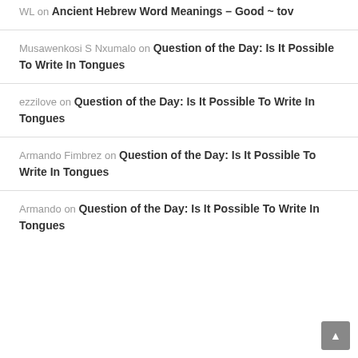WL on Ancient Hebrew Word Meanings – Good ~ tov
Musawenkosi S Nxumalo on Question of the Day: Is It Possible To Write In Tongues
ezzilove on Question of the Day: Is It Possible To Write In Tongues
Armando Fimbrez on Question of the Day: Is It Possible To Write In Tongues
Armando on Question of the Day: Is It Possible To Write In Tongues